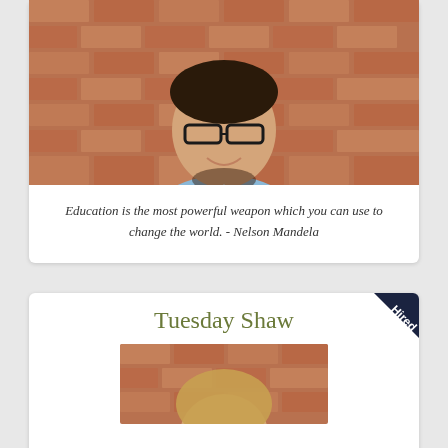[Figure (photo): Portrait photo of a young man with glasses, wearing a light blue checkered shirt, smiling, against a brick wall background]
Education is the most powerful weapon which you can use to change the world. - Nelson Mandela
Tuesday Shaw
[Figure (photo): Partial portrait photo of a person, partially visible, against a brick wall background]
[Figure (other): Hired badge/ribbon in dark navy blue color in upper right corner]